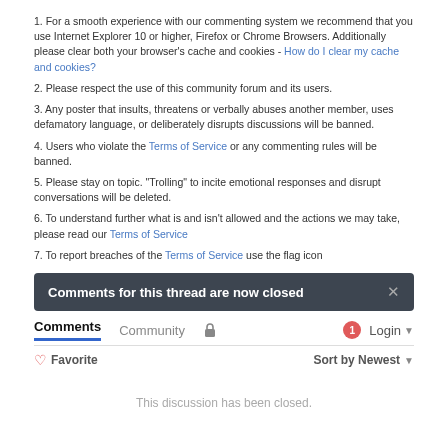1. For a smooth experience with our commenting system we recommend that you use Internet Explorer 10 or higher, Firefox or Chrome Browsers. Additionally please clear both your browser's cache and cookies - How do I clear my cache and cookies?
2. Please respect the use of this community forum and its users.
3. Any poster that insults, threatens or verbally abuses another member, uses defamatory language, or deliberately disrupts discussions will be banned.
4. Users who violate the Terms of Service or any commenting rules will be banned.
5. Please stay on topic. "Trolling" to incite emotional responses and disrupt conversations will be deleted.
6. To understand further what is and isn't allowed and the actions we may take, please read our Terms of Service
7. To report breaches of the Terms of Service use the flag icon
Comments for this thread are now closed
Comments  Community  Login
Favorite  Sort by Newest
This discussion has been closed.